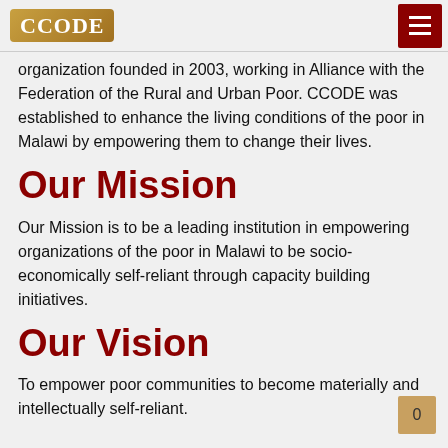CCODE
organization founded in 2003, working in Alliance with the Federation of the Rural and Urban Poor. CCODE was established to enhance the living conditions of the poor in Malawi by empowering them to change their lives.
Our Mission
Our Mission is to be a leading institution in empowering organizations of the poor in Malawi to be socio-economically self-reliant through capacity building initiatives.
Our Vision
To empower poor communities to become materially and intellectually self-reliant.